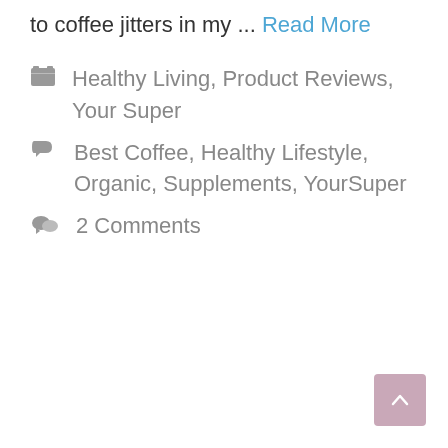to coffee jitters in my … Read More
Healthy Living, Product Reviews, Your Super
Best Coffee, Healthy Lifestyle, Organic, Supplements, YourSuper
2 Comments